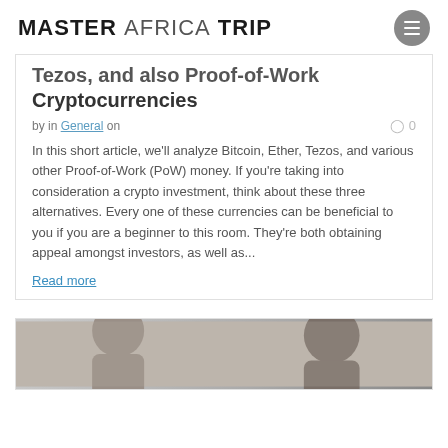MASTER AFRICA TRIP
Tezos, and also Proof-of-Work Cryptocurrencies
by in General on
In this short article, we'll analyze Bitcoin, Ether, Tezos, and various other Proof-of-Work (PoW) money. If you're taking into consideration a crypto investment, think about these three alternatives. Every one of these currencies can be beneficial to you if you are a beginner to this room. They're both obtaining appeal amongst investors, as well as...
Read more
[Figure (photo): Photo of a person at the bottom of the page, partially visible]